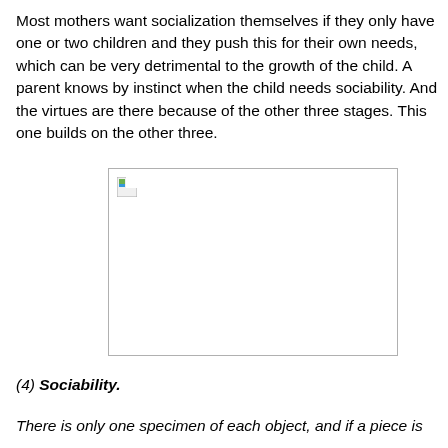Most mothers want socialization themselves if they only have one or two children and they push this for their own needs, which can be very detrimental to the growth of the child. A parent knows by instinct when the child needs sociability. And the virtues are there because of the other three stages. This one builds on the other three.
[Figure (other): A broken/placeholder image thumbnail in the upper-left corner of a bordered rectangular box, representing an image that failed to load.]
(4) Sociability.
There is only one specimen of each object, and if a piece is